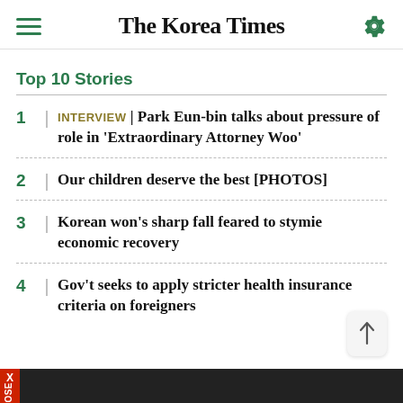The Korea Times
Top 10 Stories
INTERVIEW | Park Eun-bin talks about pressure of role in 'Extraordinary Attorney Woo'
Our children deserve the best [PHOTOS]
Korean won's sharp fall feared to stymie economic recovery
Gov't seeks to apply stricter health insurance criteria on foreigners